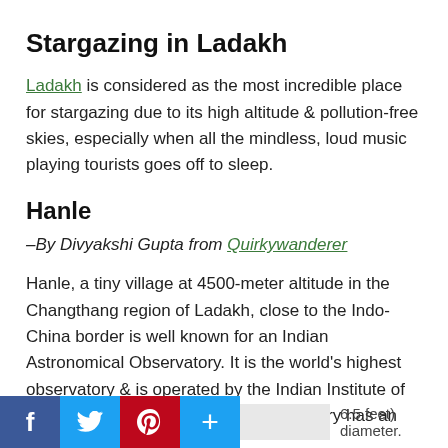Stargazing in Ladakh
Ladakh is considered as the most incredible place for stargazing due to its high altitude & pollution-free skies, especially when all the mindless, loud music playing tourists goes off to sleep.
Hanle
–By Divyakshi Gupta from Quirkywanderer
Hanle, a tiny village at 4500-meter altitude in the Changthang region of Ladakh, close to the Indo-China border is well known for an Indian Astronomical Observatory. It is the world's highest observatory & is operated by the Indian Institute of Astrophysics, Bengaluru. The observatory has an installed [so[ou[ 6.5 feet) diameter.
[Figure (other): Social sharing bar with Facebook, Twitter, Pinterest, and Add buttons at the bottom of the page]